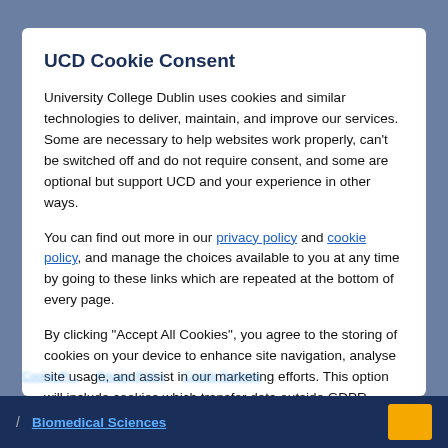UCD Cookie Consent
University College Dublin uses cookies and similar technologies to deliver, maintain, and improve our services. Some are necessary to help websites work properly, can’t be switched off and do not require consent, and some are optional but support UCD and your experience in other ways.
You can find out more in our privacy policy and cookie policy, and manage the choices available to you at any time by going to these links which are repeated at the bottom of every page.
By clicking “Accept All Cookies”, you agree to the storing of cookies on your device to enhance site navigation, analyse site usage, and assist in our marketing efforts. This option will include cookies which transfer data outside GDPR territory. Use the Cookie Preferences option to see more information and customise your choices.
Biomedical Sciences